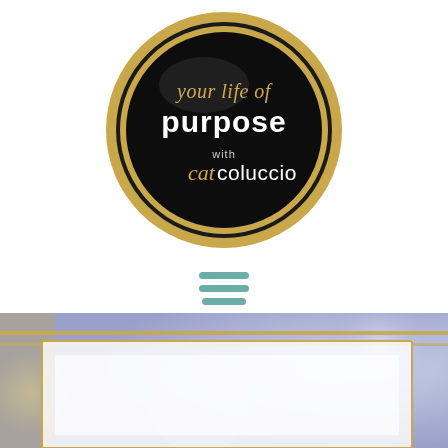[Figure (logo): Circular logo with gold ring border on black background. Script text 'your life of' in gold/white at top, bold white text 'purpose' in center, smaller text 'with' below, and 'cat' in gold italic script followed by 'coluccio' in white regular text at bottom.]
[Figure (other): Hamburger menu icon consisting of three horizontal teal/green lines stacked vertically, centered on the page.]
[Figure (photo): Partial view of a decorative banner or hero image with a bluish-purple bokeh background, gold horizontal border lines, and a white/light colored content box overlaid. The bottom edge of the image is cut off.]